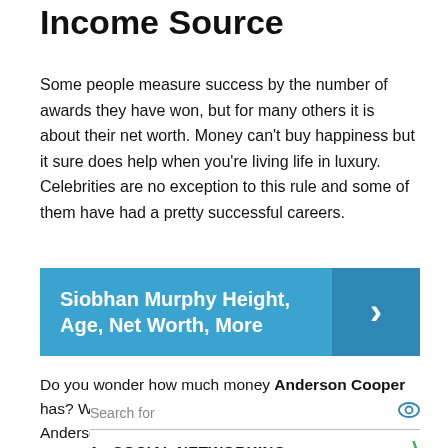Income Source
Some people measure success by the number of awards they have won, but for many others it is about their net worth. Money can't buy happiness but it sure does help when you're living life in luxury. Celebrities are no exception to this rule and some of them have had a pretty successful careers.
[Figure (infographic): Blue banner with link: Siobhan Murphy Height, Age, Net Worth, More with a right-pointing arrow on darker blue right panel]
Do you wonder how much money Anderson Cooper has? Well, here we will provide information on where Anderson
[Figure (infographic): Advertisement block with Search for label and eye icon, then two items: 1. SOCIAL NETWORKING and 2. ONLINE GAMING each with green chevrons and a small ad icon at bottom right]